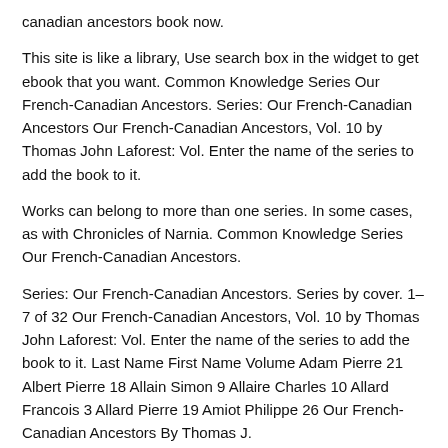canadian ancestors book now.
This site is like a library, Use search box in the widget to get ebook that you want. Common Knowledge Series Our French-Canadian Ancestors. Series: Our French-Canadian Ancestors Our French-Canadian Ancestors, Vol. 10 by Thomas John Laforest: Vol. Enter the name of the series to add the book to it.
Works can belong to more than one series. In some cases, as with Chronicles of Narnia. Common Knowledge Series Our French-Canadian Ancestors.
Series: Our French-Canadian Ancestors. Series by cover. 1–7 of 32 Our French-Canadian Ancestors, Vol. 10 by Thomas John Laforest: Vol. Enter the name of the series to add the book to it. Last Name First Name Volume Adam Pierre 21 Albert Pierre 18 Allain Simon 9 Allaire Charles 10 Allard Francois 3 Allard Pierre 19 Amiot Philippe 26 Our French-Canadian Ancestors By Thomas J.
Laforest Indexed by Margo Zieske 1. Bellefontaine, Fortin dit Julien 1 Benoist dit Laforest Gabriel 37 Benoist dit Limousin Paul 135 fils Si...